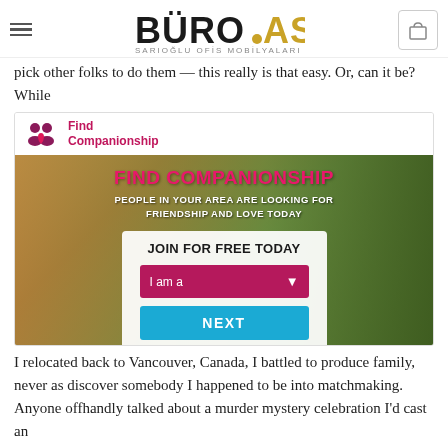BÜRO.AS — SARIOĞLU OFİS MOBİLYALARI
pick other folks to do them — this really is that easy. Or, can it be? While
[Figure (screenshot): Find Companionship advertisement with logo, background photo of couple in car, pink 'FIND COMPANIONSHIP' title, white subtitle 'PEOPLE IN YOUR AREA ARE LOOKING FOR FRIENDSHIP AND LOVE TODAY', a white form box with 'JOIN FOR FREE TODAY', a pink 'I am a' dropdown, and a blue 'NEXT' button.]
I relocated back to Vancouver, Canada, I battled to produce family, never as discover somebody I happened to be into matchmaking. Anyone offhandly talked about a murder mystery celebration I'd cast an